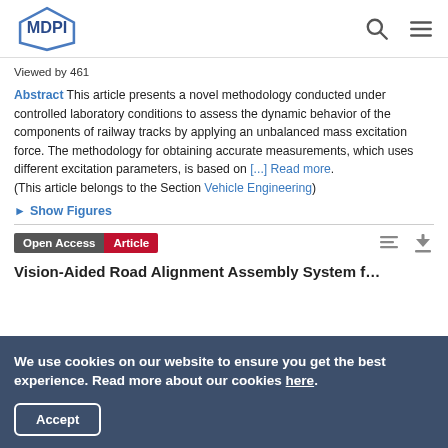MDPI
Viewed by 461
Abstract This article presents a novel methodology conducted under controlled laboratory conditions to assess the dynamic behavior of the components of railway tracks by applying an unbalanced mass excitation force. The methodology for obtaining accurate measurements, which uses different excitation parameters, is based on [...] Read more. (This article belongs to the Section Vehicle Engineering)
► Show Figures
Open Access  Article
Vision-Aided Road Alignment Assembly System f…
We use cookies on our website to ensure you get the best experience. Read more about our cookies here. Accept